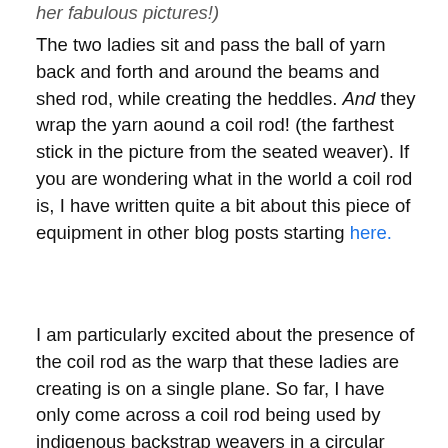her fabulous pictures!)
The two ladies sit and pass the ball of yarn back and forth and around the beams and shed rod, while creating the heddles. And they wrap the yarn aound a coil rod! (the farthest stick in the picture from the seated weaver). If you are wondering what in the world a coil rod is, I have written quite a bit about this piece of equipment in other blog posts starting here.
I am particularly excited about the presence of the coil rod as the warp that these ladies are creating is on a single plane. So far, I have only come across a coil rod being used by indigenous backstrap weavers in a circular warp. I used to say that those of us in the Ravelry group who have grown to love the good ol' coil rod and use one in our single plane warps are being unconventional....maybe  we are not so unconventional after all!